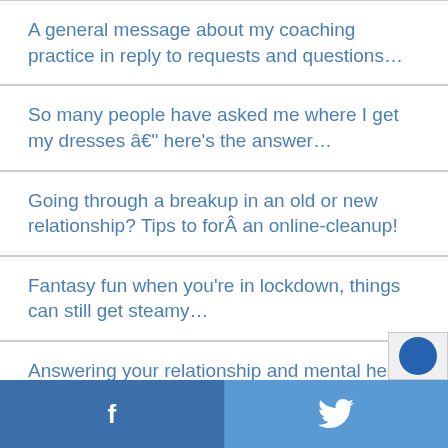A general message about my coaching practice in reply to requests and questions…
So many people have asked me where I get my dresses â€" here's the answer…
Going through a breakup in an old or new relationship? Tips to forÂ an online-cleanup!
Fantasy fun when you're in lockdown, things can still get steamy…
Answering your relationship and mental health questions on BBC 5 Live drive time…
f  [twitter bird icon]